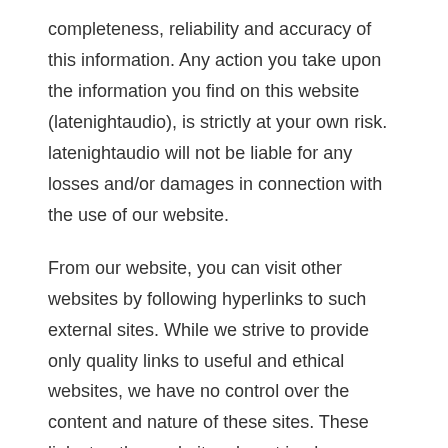completeness, reliability and accuracy of this information. Any action you take upon the information you find on this website (latenightaudio), is strictly at your own risk. latenightaudio will not be liable for any losses and/or damages in connection with the use of our website.
From our website, you can visit other websites by following hyperlinks to such external sites. While we strive to provide only quality links to useful and ethical websites, we have no control over the content and nature of these sites. These links to other websites do not imply a recommendation for all the content found on these sites. Site owners and content may change without notice and may occur before we have the opportunity to remove a link which may have gone 'bad'.
Please be also aware that when you leave our website, other sites may have different privacy policies and terms which are beyond our control. Please be sure to check the Privacy Policies of these